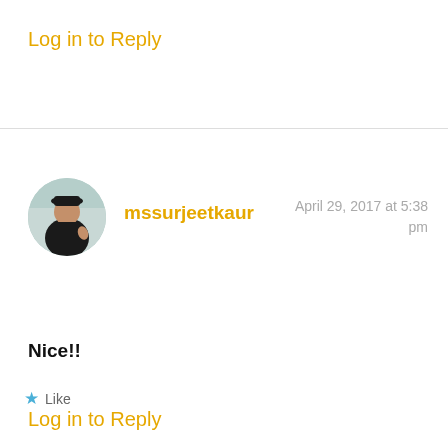Log in to Reply
mssurjeetkaur
April 29, 2017 at 5:38 pm
Nice!!
Like
Log in to Reply